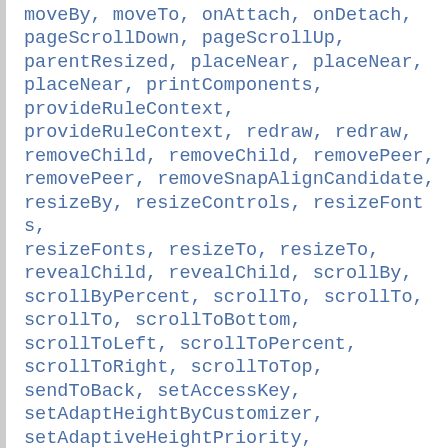moveBy, moveTo, onAttach, onDetach, pageScrollDown, pageScrollUp, parentResized, placeNear, placeNear, placeNear, printComponents, provideRuleContext, provideRuleContext, redraw, redraw, removeChild, removeChild, removePeer, removePeer, removeSnapAlignCandidate, resizeBy, resizeControls, resizeFonts, resizeFonts, resizeTo, resizeTo, revealChild, revealChild, scrollBy, scrollByPercent, scrollTo, scrollTo, scrollTo, scrollToBottom, scrollToLeft, scrollToPercent, scrollToRight, scrollToTop, sendToBack, setAccessKey, setAdaptHeightByCustomizer, setAdaptiveHeightPriority, setAdaptiveWidthPriority, setAdaptWidthByCustomizer, setAllowExternalFilters